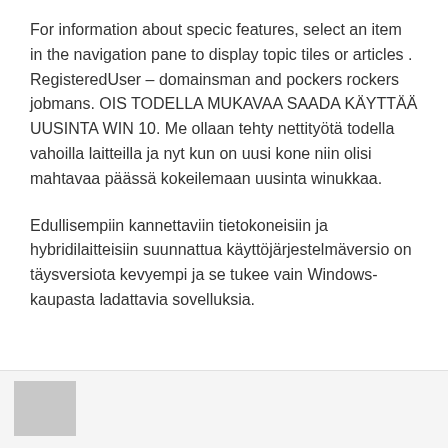For information about specic features, select an item in the navigation pane to display topic tiles or articles . RegisteredUser – domainsman and pockers rockers jobmans. OIS TODELLA MUKAVAA SAADA KÄYTTÄÄ UUSINTA WIN 10. Me ollaan tehty nettityötä todella vahoilla laitteilla ja nyt kun on uusi kone niin olisi mahtavaa päässä kokeilemaan uusinta winukkaa.
Edullisempiin kannettaviin tietokoneisiin ja hybridilaitteisiin suunnattua käyttöjärjestelmäversio on täysversiota kevyempi ja se tukee vain Windows-kaupasta ladattavia sovelluksia.
[Figure (photo): Grey avatar/profile image placeholder in the bottom section]